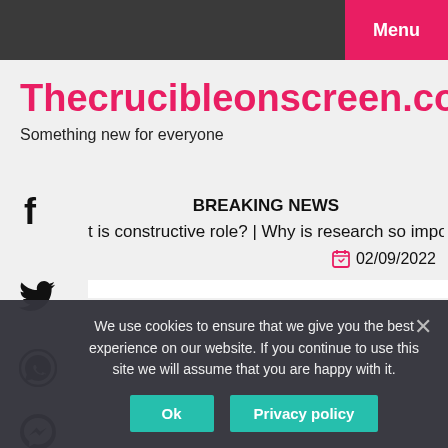Menu
Thecrucibleonscreen.com
Something new for everyone
BREAKING NEWS
t is constructive role?  |  Why is research so important?  |  Di
02/09/2022
We use cookies to ensure that we give you the best experience on our website. If you continue to use this site we will assume that you are happy with it.
Ok
Privacy policy
Other